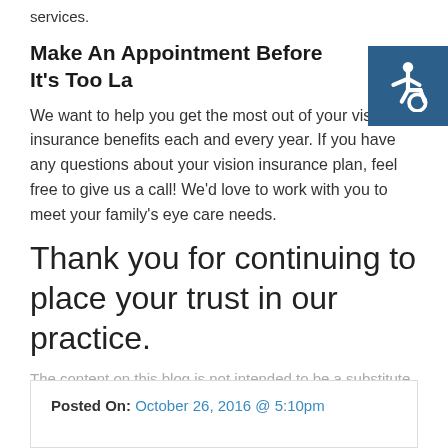services.
Make An Appointment Before It’s Too La…
[Figure (illustration): Accessibility icon: white wheelchair symbol on dark blue square background, positioned top-right corner]
We want to help you get the most out of your vision insurance benefits each and every year. If you have any questions about your vision insurance plan, feel free to give us a call! We’d love to work with you to meet your family’s eye care needs.
Thank you for continuing to place your trust in our practice.
The content on this blog is not intended to be a substitute for professional medical advice, diagnosis, or treatment. Always seek the advice of qualified health providers with questions you may have regarding medical conditions.
Posted On: October 26, 2016 @ 5:10pm